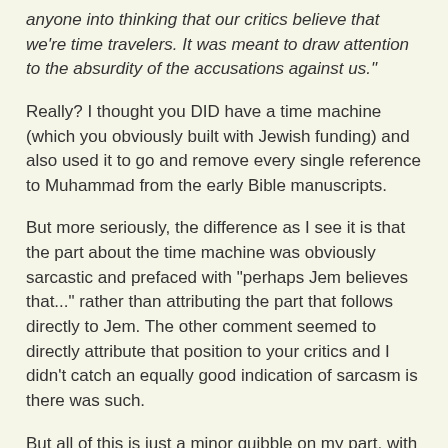anyone into thinking that our critics believe that we're time travelers. It was meant to draw attention to the absurdity of the accusations against us."
Really? I thought you DID have a time machine (which you obviously built with Jewish funding) and also used it to go and remove every single reference to Muhammad from the early Bible manuscripts.
But more seriously, the difference as I see it is that the part about the time machine was obviously sarcastic and prefaced with "perhaps Jem believes that..." rather than attributing the part that follows directly to Jem. The other comment seemed to directly attribute that position to your critics and I didn't catch an equally good indication of sarcasm is there was such.
But all of this is just a minor quibble on my part, with the motivation that I'm trying to make an effort in pointing out possible problems with what the people on my own side of the debate are saying just to maintain a balanced approach. Since it's very seldom that there